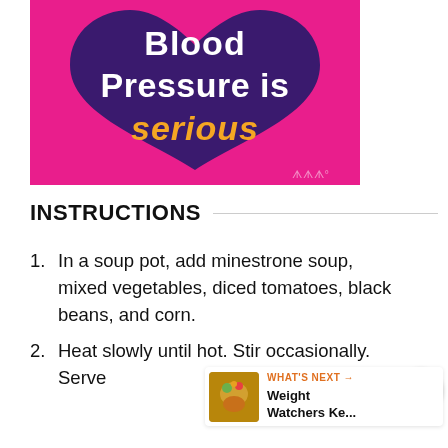[Figure (infographic): Pink background infographic with dark purple heart shape. White bold text 'Blood Pressure is' and orange/yellow bold italic text 'serious'. Small logo in bottom right corner.]
INSTRUCTIONS
In a soup pot, add minestrone soup, mixed vegetables, diced tomatoes, black beans, and corn.
Heat slowly until hot. Stir occasionally. Serve